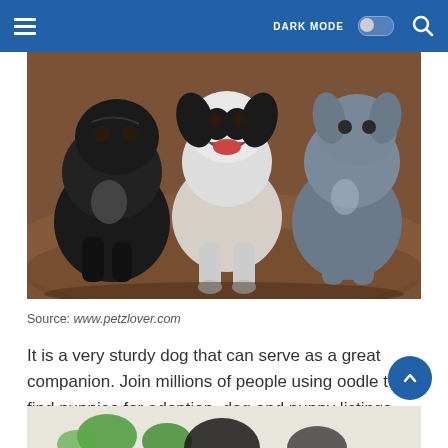DARK MODE [toggle] [search icon]
[Figure (photo): Three puppies sitting on a brown blanket/cushion. Left puppy is black, center puppy is white and black standing with open mouth, right puppy is gray/blue.]
Source: www.petzlover.com
It is a very sturdy dog that can serve as a great companion. Join millions of people using oodle to find puppies for adoption, dog and puppy listings, and other pets adoption.
[Figure (photo): Partial view of another image at the bottom of the page, appears to show a dog-related illustration or photo with green elements.]